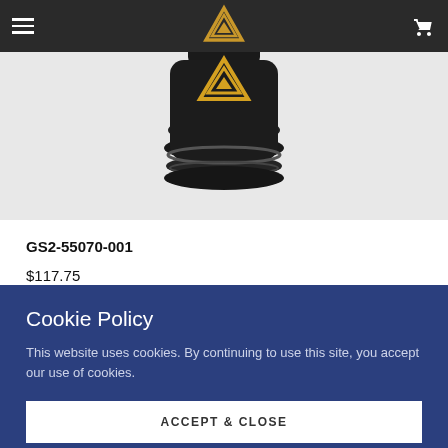[Figure (photo): Dark mechanical part (appears to be a valve or fitting component) against a white/grey background, with a gold/yellow geometric logo overlay in the center]
GS2-55070-001
$117.75
Cookie Policy
This website uses cookies. By continuing to use this site, you accept our use of cookies.
ACCEPT & CLOSE